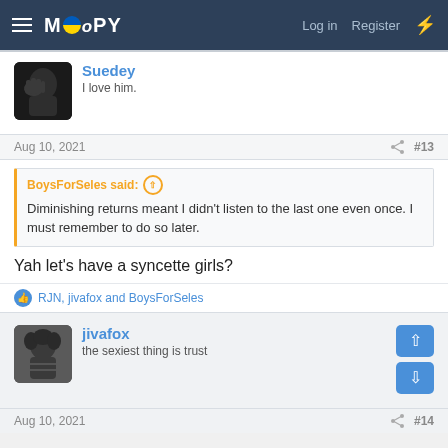MOOPY — Log in  Register
Suedey
I love him.
Aug 10, 2021  #13
BoysForSeles said: ↑
Diminishing returns meant I didn't listen to the last one even once. I must remember to do so later.
Yah let's have a syncette girls?
👍 RJN, jivafox and BoysForSeles
jivafox
the sexiest thing is trust
Aug 10, 2021  #14